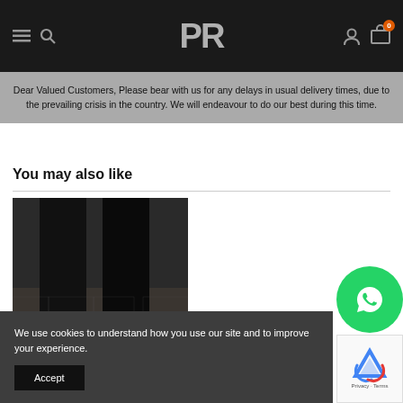PR — navigation bar with menu, search, logo, user, cart (0)
Dear Valued Customers, Please bear with us for any delays in usual delivery times, due to the prevailing crisis in the country. We will endeavour to do our best during this time.
You may also like
[Figure (photo): Close-up photo of person's legs wearing black trousers and dark shoes on cobblestone ground]
We use cookies to understand how you use our site and to improve your experience.
Accept